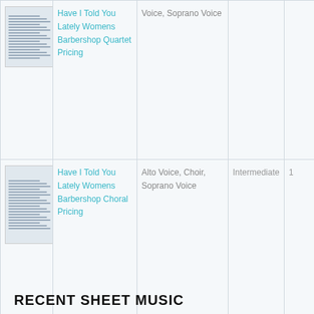| Thumbnail | Title | Voice/Part | Level | Price |
| --- | --- | --- | --- | --- |
| [sheet music thumbnail] | Have I Told You Lately Womens Barbershop Quartet Pricing | Voice, Soprano Voice |  |  |
| [sheet music thumbnail] | Have I Told You Lately Womens Barbershop Choral Pricing | Alto Voice, Choir, Soprano Voice | Intermediate | 1 |
| [sheet music thumbnail] | Have I Told You Lately Van Morrison Arranged For String Duet |  | Advanced | 1 |
RECENT SHEET MUSIC